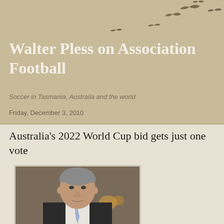Walter Pless on Association Football
Soccer in Tasmania, Australia and the world
Friday, December 3, 2010
Australia's 2022 World Cup bid gets just one vote
[Figure (photo): Portrait photo of a man in a dark suit and light blue tie, grey hair, looking at camera, indoor setting]